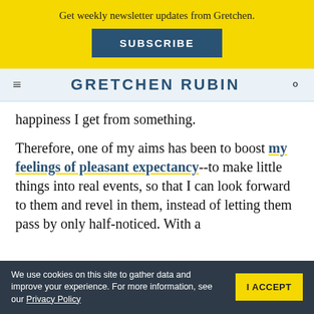Get weekly newsletter updates from Gretchen. SUBSCRIBE
GRETCHEN RUBIN
happiness I get from something.
Therefore, one of my aims has been to boost my feelings of pleasant expectancy--to make little things into real events, so that I can look forward to them and revel in them, instead of letting them pass by only half-noticed. With a
We use cookies on this site to gather data and improve your experience. For more information, see our Privacy Policy | I ACCEPT